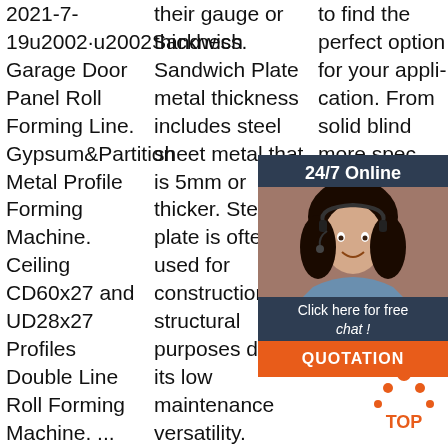2021-7-19u2002·u2002Sandwich Garage Door Panel Roll Forming Line. Gypsum&Partition Metal Profile Forming Machine. Ceiling CD60x27 and UD28x27 Profiles Double Line Roll Forming Machine. ... Floor Decking
their gauge or thickness. Sandwich Plate metal thickness includes steel sheet metal that is 5mm or thicker. Steel plate is often used for construction or structural purposes due to its low maintenance versatility. Strength-to-
to find the perfect option for your application. From solid blind more spec varie brak rivets section rivets, we offer durable, high quality rivets in all shapes and
[Figure (infographic): Customer service overlay box with '24/7 Online' header, photo of woman with headset, 'Click here for free chat!' text, and orange QUOTATION button. Also a TOP icon (orange arrow/dots) in lower right.]